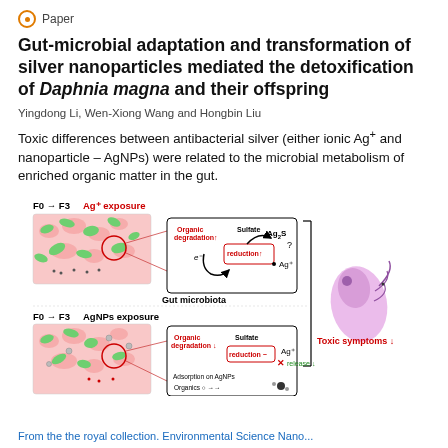Paper
Gut-microbial adaptation and transformation of silver nanoparticles mediated the detoxification of Daphnia magna and their offspring
Yingdong Li, Wen-Xiong Wang and Hongbin Liu
Toxic differences between antibacterial silver (either ionic Ag+ and nanoparticle – AgNPs) were related to the microbial metabolism of enriched organic matter in the gut.
[Figure (infographic): Diagram showing F0→F3 Ag+ exposure (top) and F0→F3 AgNPs exposure (bottom), each with gut microbiota illustrations and biochemical process arrows (Organic degradation, Sulfate reduction, Ag2S, Ag+ release), and a Daphnia magna image with 'Toxic symptoms ↓' label on the right.]
From the the royal collection. Environmental Science Nano...